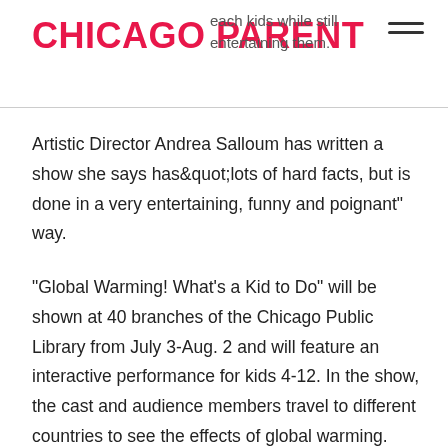CHICAGO PARENT | each kids while still entertaining them.
Artistic Director Andrea Salloum has written a show she says has"lots of hard facts, but is done in a very entertaining, funny and poignant" way.
"Global Warming! What's a Kid to Do" will be shown at 40 branches of the Chicago Public Library from July 3-Aug. 2 and will feature an interactive performance for kids 4-12. In the show, the cast and audience members travel to different countries to see the effects of global warming.
"For the younger kids, they'll really enjoy the costumes, the big polar bear and we're going to dress a kid up as a monkey," Salloum says. At the end of the show, kids will be invited to come on stage and talk about what they...